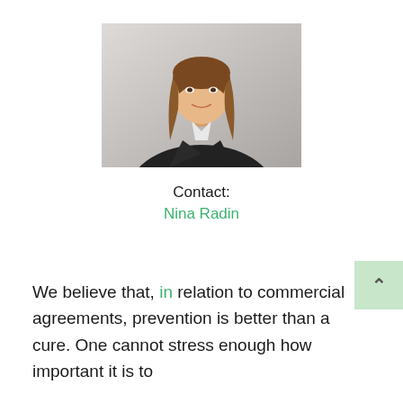[Figure (photo): Professional headshot of a young woman with long brown hair wearing a dark blazer, smiling, light grey background]
Contact:
Nina Radin
We believe that, in relation to commercial agreements, prevention is better than a cure. One cannot stress enough how important it is to